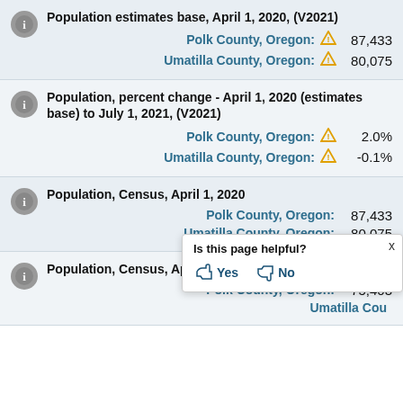Population estimates base, April 1, 2020, (V2021)
Polk County, Oregon: ⚠ 87,433
Umatilla County, Oregon: ⚠ 80,075
Population, percent change - April 1, 2020 (estimates base) to July 1, 2021, (V2021)
Polk County, Oregon: ⚠ 2.0%
Umatilla County, Oregon: ⚠ -0.1%
Population, Census, April 1, 2020
Polk County, Oregon: 87,433
Umatilla County, Oregon: 80,075
Population, Census, April 1, 2010
Polk County, Oregon: 75,403
Umatilla County, Oregon: [partially obscured]
Is this page helpful? Yes / No